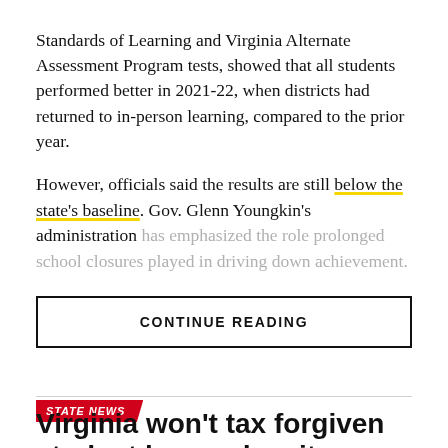Standards of Learning and Virginia Alternate Assessment Program tests, showed that all students performed better in 2021-22, when districts had returned to in-person learning, compared to the prior year.
However, officials said the results are still below the state's baseline. Gov. Glenn Youngkin's administration has emphasized the role prolonged school closures played in driving down achievement.
CONTINUE READING
STATE NEWS
Virginia won't tax forgiven student loans, despite news reports